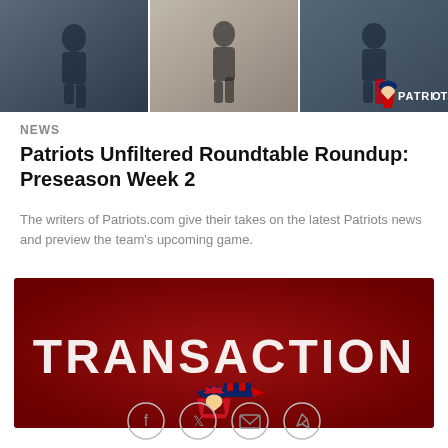[Figure (photo): Three New England Patriots players running on the field, shown in three side-by-side photo panels with PATRIOTS logo overlay in bottom right]
NEWS
Patriots Unfiltered Roundtable Roundup: Preseason Week 2
The writers of Patriots.com give their takes on the latest Patriots news and preview the team’s upcoming game.
[Figure (infographic): Dark red/maroon banner with large bold white text reading TRANSACTION and New England Patriots logo (flying Elvis) below the text]
[Figure (other): Social sharing icon bar with Facebook, Twitter, email, and link icons]